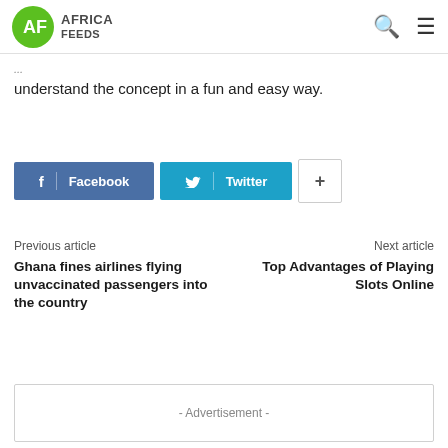Africa Feeds
understand the concept in a fun and easy way.
[Figure (other): Social share buttons: Facebook, Twitter, and a plus/more button]
Previous article
Ghana fines airlines flying unvaccinated passengers into the country
Next article
Top Advantages of Playing Slots Online
- Advertisement -